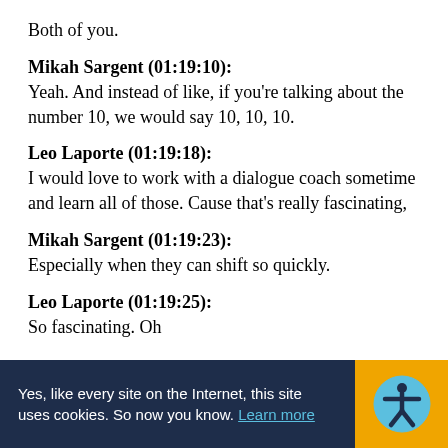Both of you.
Mikah Sargent (01:19:10):
Yeah. And instead of like, if you're talking about the number 10, we would say 10, 10, 10.
Leo Laporte (01:19:18):
I would love to work with a dialogue coach sometime and learn all of those. Cause that's really fascinating,
Mikah Sargent (01:19:23):
Especially when they can shift so quickly.
Leo Laporte (01:19:25):
So fascinating. Oh
Yes, like every site on the Internet, this site uses cookies. So now you know. Learn more